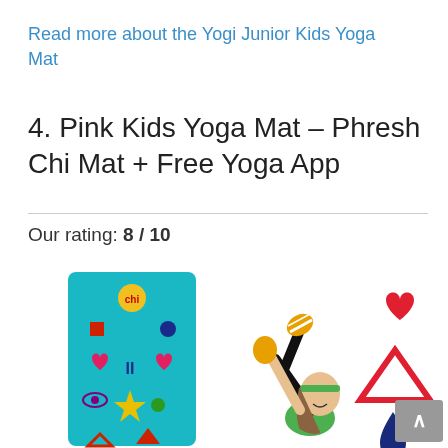Read more about the Yogi Junior Kids Yoga Mat
4. Pink Kids Yoga Mat – Phresh Chi Mat + Free Yoga App
Our rating: 8 / 10
[Figure (photo): Product photo of the Phresh Chi Pink Kids Yoga Mat showing a teal yoga mat with colorful shapes (hearts, stars, triangles, spirals, drops), a girl in a yoga pose wearing green and yellow, and decorative red/blue shape icons (heart, triangle, droplet) on white background. A scroll-to-top button is visible in the lower right.]